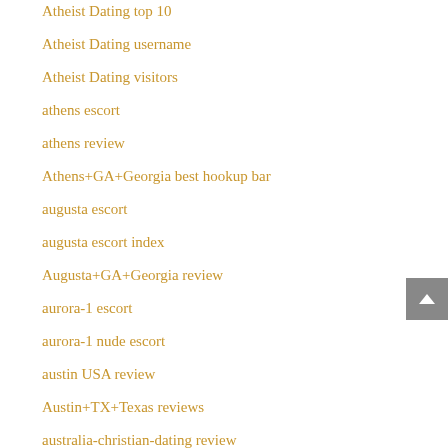Atheist Dating top 10
Atheist Dating username
Atheist Dating visitors
athens escort
athens review
Athens+GA+Georgia best hookup bar
augusta escort
augusta escort index
Augusta+GA+Georgia review
aurora-1 escort
aurora-1 nude escort
austin USA review
Austin+TX+Texas reviews
australia-christian-dating review
australia-disabled-dating review